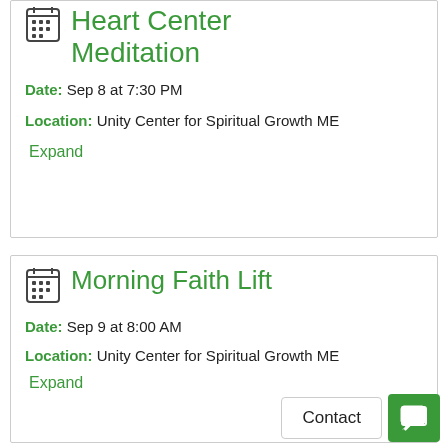Heart Center Meditation
Date: Sep 8 at 7:30 PM
Location: Unity Center for Spiritual Growth ME
Expand
Morning Faith Lift
Date: Sep 9 at 8:00 AM
Location: Unity Center for Spiritual Growth ME
Expand
Contact